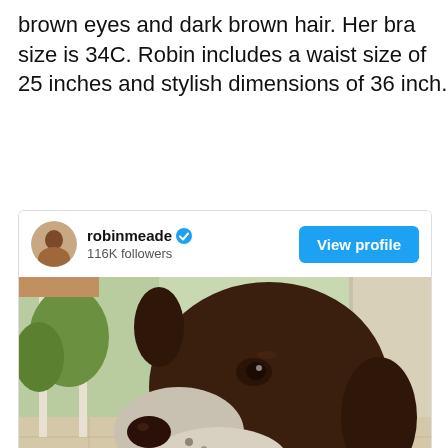brown eyes and dark brown hair. Her bra size is 34C. Robin includes a waist size of 25 inches and stylish dimensions of 36 inch.
[Figure (screenshot): Instagram-style profile card for robinmeade with 116K followers, verified badge, a 'View profile' button, and a photo of a chocolate/white dog looking upward indoors.]